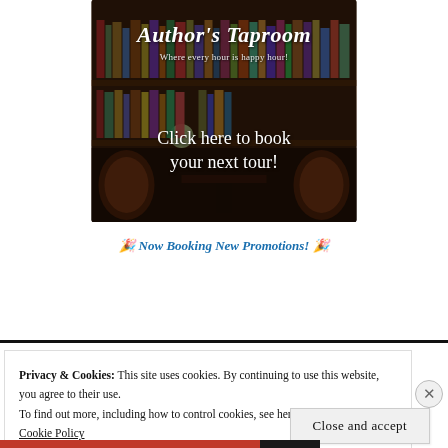[Figure (illustration): Author's Taproom banner image showing a dimly lit library/bar with bookshelves in the background. Text overlay reads: 'Author's Taproom - Where every hour is happy hour!' and 'Click here to book your next tour!']
🎉 Now Booking New Promotions! 🎉
Privacy & Cookies: This site uses cookies. By continuing to use this website, you agree to their use.
To find out more, including how to control cookies, see here:
Cookie Policy
Close and accept